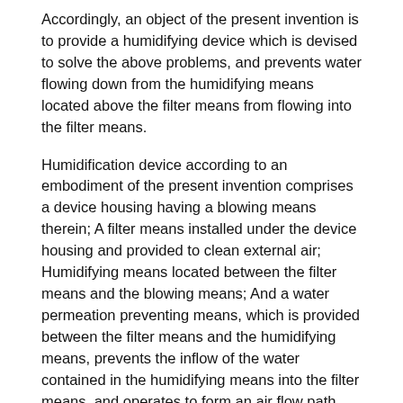Accordingly, an object of the present invention is to provide a humidifying device which is devised to solve the above problems, and prevents water flowing down from the humidifying means located above the filter means from flowing into the filter means.
Humidification device according to an embodiment of the present invention comprises a device housing having a blowing means therein; A filter means installed under the device housing and provided to clean external air; Humidifying means located between the filter means and the blowing means; And a water permeation preventing means, which is provided between the filter means and the humidifying means, prevents the inflow of the water contained in the humidifying means into the filter means, and operates to form an air flow path from the filter means to the blowing means.
In one embodiment of the present invention, the moisture permeation prevention means is provided to cover the filter means, the cover unit is provided with an air flow path through which the filtered air from the filter means; And a flow path opening and closing unit provided at the cover unit to control the flow from the